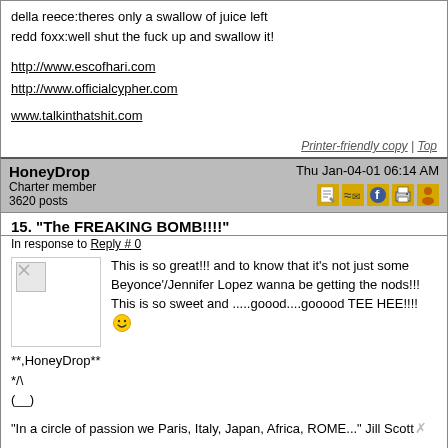della reece:theres only a swallow of juice left
redd foxx:well shut the fuck up and swallow it!
http://www.escofhari.com
http://www.officialcypher.com
www.talkinthatshit.com
Printer-friendly copy | Top
HoneyDrop
Charter member
3620 posts
Thu Jan-04-01 06:14 AM
15. "The FREAKING BOMB!!!!"
In response to Reply # 0
This is so great!!! and to know that it's not just some Beyonce'/Jennifer Lopez wanna be getting the nods!!! This is so sweet and .....goood....gooood TEE HEE!!!!
**,HoneyDrop**
*/\
(__)
"In a circle of passion we Paris, Italy, Japan, Africa, ROME..." Jill Scott
"Better than love, we made delicious." Jill Scott